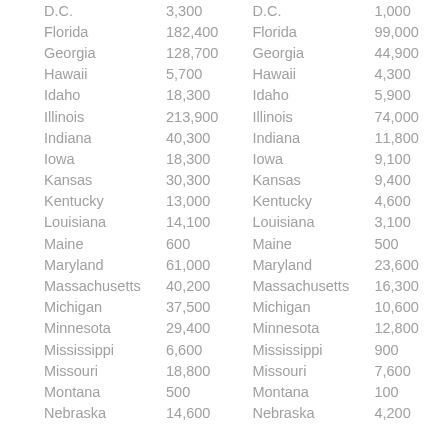| D.C. | 3,300 | D.C. | 1,000 |
| Florida | 182,400 | Florida | 99,000 |
| Georgia | 128,700 | Georgia | 44,900 |
| Hawaii | 5,700 | Hawaii | 4,300 |
| Idaho | 18,300 | Idaho | 5,900 |
| Illinois | 213,900 | Illinois | 74,000 |
| Indiana | 40,300 | Indiana | 11,800 |
| Iowa | 18,300 | Iowa | 9,100 |
| Kansas | 30,300 | Kansas | 9,400 |
| Kentucky | 13,000 | Kentucky | 4,600 |
| Louisiana | 14,100 | Louisiana | 3,100 |
| Maine | 600 | Maine | 500 |
| Maryland | 61,000 | Maryland | 23,600 |
| Massachusetts | 40,200 | Massachusetts | 16,300 |
| Michigan | 37,500 | Michigan | 10,600 |
| Minnesota | 29,400 | Minnesota | 12,800 |
| Mississippi | 6,600 | Mississippi | 900 |
| Missouri | 18,800 | Missouri | 7,600 |
| Montana | 500 | Montana | 100 |
| Nebraska | 14,600 | Nebraska | 4,200 |